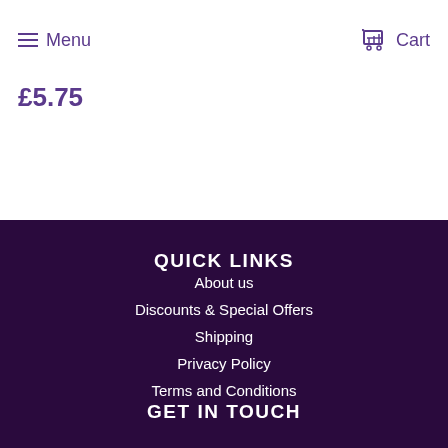Menu   Cart
£5.75
QUICK LINKS
About us
Discounts & Special Offers
Shipping
Privacy Policy
Terms and Conditions
GET IN TOUCH